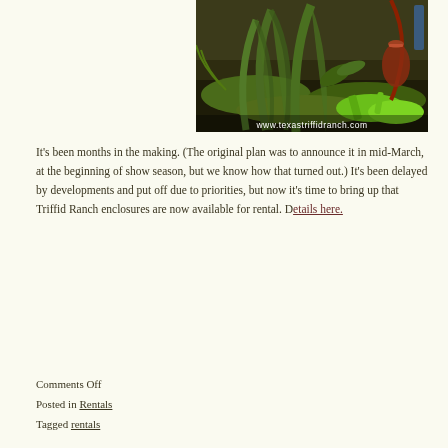[Figure (photo): Photograph of carnivorous plants (Nepenthes/pitcher plants) growing among moss and ferns. Watermark at bottom reads www.texastriffidranch.com]
It's been months in the making. (The original plan was to announce it in mid-March, at the beginning of show season, but we know how that turned out.) It's been delayed by developments and put off due to priorities, but now it's time to bring up that Triffid Ranch enclosures are now available for rental. Details here.
Comments Off
Posted in Rentals
Tagged rentals